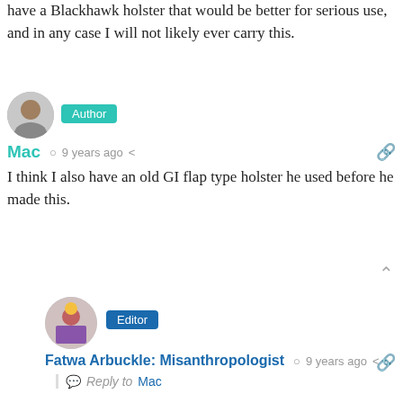have a Blackhawk holster that would be better for serious use, and in any case I will not likely ever carry this.
[Figure (illustration): Circular avatar of Mac (author), showing a middle-aged man]
Author
Mac  9 years ago
I think I also have an old GI flap type holster he used before he made this.
[Figure (illustration): Circular avatar of Fatwa Arbuckle: Misanthropologist (Editor), showing a cartoon figure]
Editor
Fatwa Arbuckle: Misanthropologist  9 years ago
Reply to Mac
I have some long johns with a flap.
[Figure (illustration): Circular avatar of Mac (author) again]
Author
Mac  9 years ago